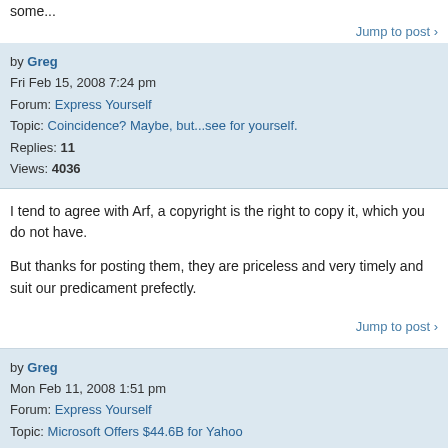some...
Jump to post >
by Greg
Fri Feb 15, 2008 7:24 pm
Forum: Express Yourself
Topic: Coincidence? Maybe, but...see for yourself.
Replies: 11
Views: 4036
I tend to agree with Arf, a copyright is the right to copy it, which you do not have.

But thanks for posting them, they are priceless and very timely and suit our predicament prefectly.
Jump to post >
by Greg
Mon Feb 11, 2008 1:51 pm
Forum: Express Yourself
Topic: Microsoft Offers $44.6B for Yahoo
Replies: 6
Views: 2799
Yahoo was $19 when MS offered $31, so i think they are being greedy now.

I hope MS pulls out and YHOO goes back to $19, that'll teach 'em.